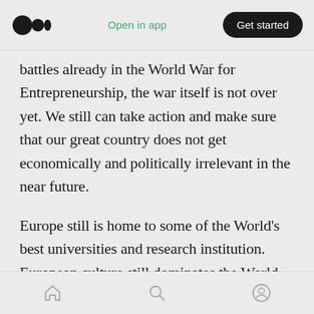Open in app  Get started
battles already in the World War for Entrepreneurship, the war itself is not over yet. We still can take action and make sure that our great country does not get economically and politically irrelevant in the near future.
Europe still is home to some of the World’s best universities and research institution. European culture still dominates the World. European societies still are the more open, free and fair society that mankind has ever lived in. The fundamental ingredients are there. We just need
home  search  profile